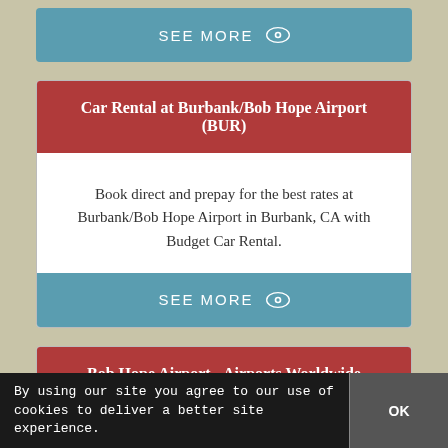SEE MORE
Car Rental at Burbank/Bob Hope Airport (BUR)
Book direct and prepay for the best rates at Burbank/Bob Hope Airport in Burbank, CA with Budget Car Rental.
SEE MORE
Bob Hope Airport - Airports Worldwide
Bob Hope Airport (IATA: BUR, ICAO: KBUR, FAA LID:
By using our site you agree to our use of cookies to deliver a better site experience.